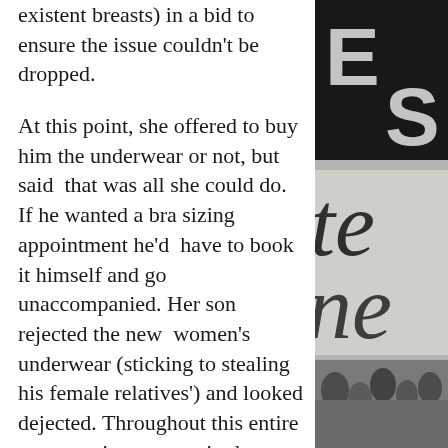existent breasts) in a bid to ensure the issue couldn't be dropped.
At this point, she offered to buy him the underwear or not, but said  that was all she could do. If he wanted a bra sizing appointment he'd  have to book it himself and go unaccompanied. Her son rejected the new  women's underwear (sticking to stealing his female relatives') and looked dejected. Throughout this entire conversation women in the changing room had been obviously listening in. Everyone was hyper-conscious of his presence. I imagine there was relief when we left.
This young man is certainly disturbed and unaware / uncaring of women's
[Figure (photo): Black and white photo collage: top portion shows a dark sign with large white letters 'E' and 'S' visible. Bottom portion shows cursive handwriting on a banner or sign reading partial text 'te' and 'ne', with crowd of people visible below.]